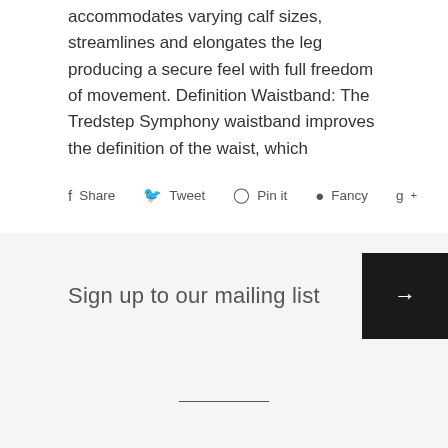accommodates varying calf sizes, streamlines and elongates the leg producing a secure feel with full freedom of movement. Definition Waistband: The Tredstep Symphony waistband improves the definition of the waist, which
Share  Tweet  Pin it  Fancy  g+
Sign up to our mailing list